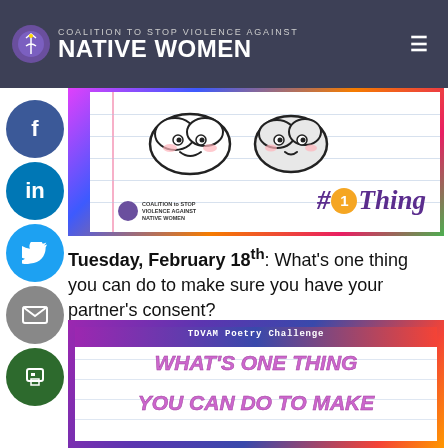COALITION to STOP VIOLENCE AGAINST NATIVE WOMEN
[Figure (illustration): Banner image with notebook-style background, two kawaii cloud characters, Coalition to Stop Violence Against Native Women logo, and #1Thing hashtag text in purple italic script on an orange circle]
Tuesday, February 18th: What's one thing you can do to make sure you have your partner's consent?
[Figure (illustration): TDVAM Poetry Challenge banner with colorful marbled background and text reading WHAT'S ONE THING YOU CAN DO TO MAKE in large purple bubble letters on white notebook background]